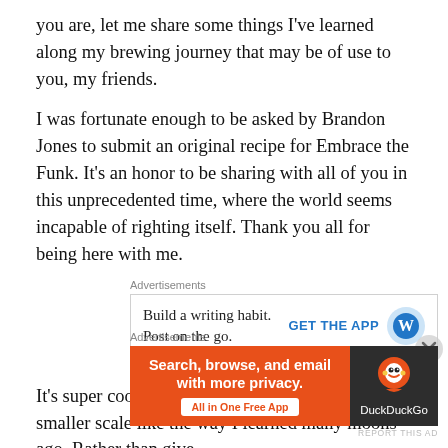you are, let me share some things I've learned along my brewing journey that may be of use to you, my friends.
I was fortunate enough to be asked by Brandon Jones to submit an original recipe for Embrace the Funk. It's an honor to be sharing with all of you in this unprecedented time, where the world seems incapable of righting itself. Thank you all for being here with me.
[Figure (screenshot): WordPress advertisement: 'Build a writing habit. Post on the go.' with GET THE APP button and WordPress logo]
It's super cool to think about beer again on a smaller scale like the way I learned many moons ago. Rather than give
[Figure (screenshot): DuckDuckGo advertisement: 'Search, browse, and email with more privacy. All in One Free App' with DuckDuckGo logo on dark background]